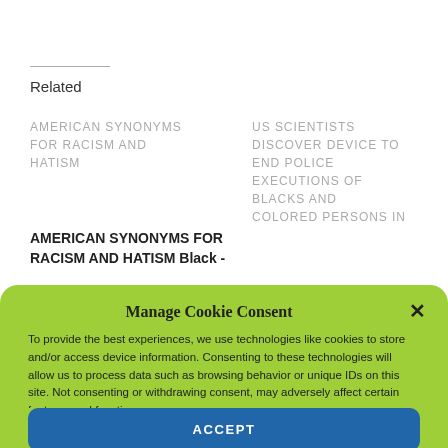Related
AMERICAN SYNONYMS FOR RACISM AND HATISM
US SCIENTISTS DISCOVER DEVICE TO END POLICE EXECUTIONS OF BLACKS AND COLORED PERSONS IN
AMERICAN SYNONYMS FOR RACISM AND HATISM Black -
Manage Cookie Consent
To provide the best experiences, we use technologies like cookies to store and/or access device information. Consenting to these technologies will allow us to process data such as browsing behavior or unique IDs on this site. Not consenting or withdrawing consent, may adversely affect certain features and functions.
ACCEPT
Opt-out preferences